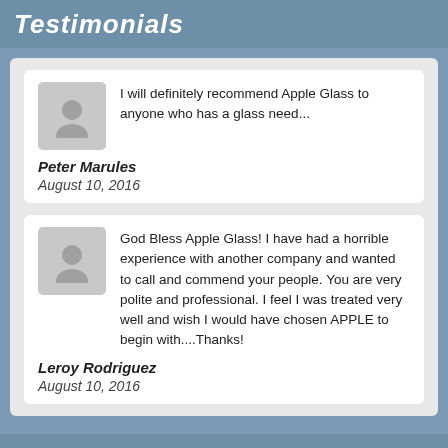Testimonials
I will definitely recommend Apple Glass to anyone who has a glass need...
Peter Marules
August 10, 2016
God Bless Apple Glass! I have had a horrible experience with another company and wanted to call and commend your people. You are very polite and professional. I feel I was treated very well and wish I would have chosen APPLE to begin with....Thanks!
Leroy Rodriguez
August 10, 2016